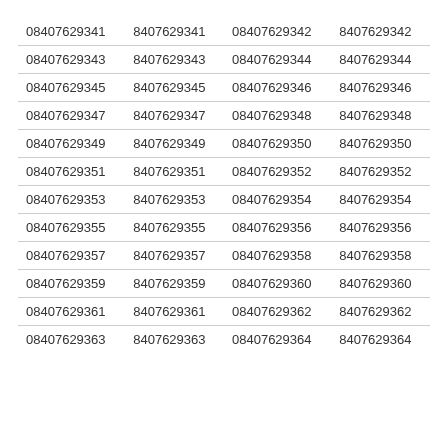| 08407629341 | 8407629341 | 08407629342 | 8407629342 |
| 08407629343 | 8407629343 | 08407629344 | 8407629344 |
| 08407629345 | 8407629345 | 08407629346 | 8407629346 |
| 08407629347 | 8407629347 | 08407629348 | 8407629348 |
| 08407629349 | 8407629349 | 08407629350 | 8407629350 |
| 08407629351 | 8407629351 | 08407629352 | 8407629352 |
| 08407629353 | 8407629353 | 08407629354 | 8407629354 |
| 08407629355 | 8407629355 | 08407629356 | 8407629356 |
| 08407629357 | 8407629357 | 08407629358 | 8407629358 |
| 08407629359 | 8407629359 | 08407629360 | 8407629360 |
| 08407629361 | 8407629361 | 08407629362 | 8407629362 |
| 08407629363 | 8407629363 | 08407629364 | 8407629364 |